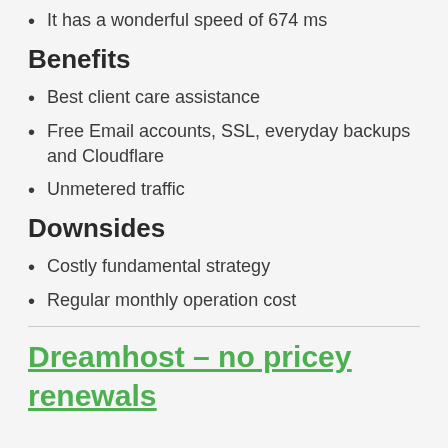It has a wonderful speed of 674 ms
Benefits
Best client care assistance
Free Email accounts, SSL, everyday backups and Cloudflare
Unmetered traffic
Downsides
Costly fundamental strategy
Regular monthly operation cost
Dreamhost – no pricey renewals